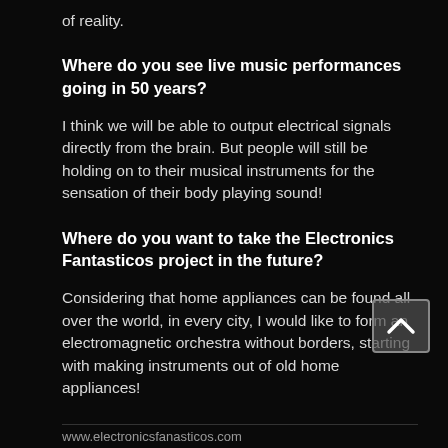of reality.
Where do you see live music performances going in 50 years?
I think we will be able to output electrical signals directly from the brain. But people will still be holding on to their musical instruments for the sensation of their body playing sound!
Where do you want to take the Electronics Fantasticos project in the future?
Considering that home appliances can be found all over the world, in every city, I would like to form an electromagnetic orchestra without borders, starting with making instruments out of old home appliances!
www.electronicsfanasticos.com